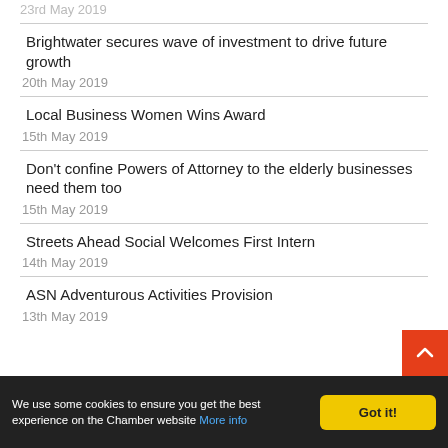23rd May 2019
Brightwater secures wave of investment to drive future growth
20th May 2019
Local Business Women Wins Award
15th May 2019
Don't confine Powers of Attorney to the elderly businesses need them too
15th May 2019
Streets Ahead Social Welcomes First Intern
14th May 2019
ASN Adventurous Activities Provision
13th May 2019
We use some cookies to ensure you get the best experience on the Chamber website More info